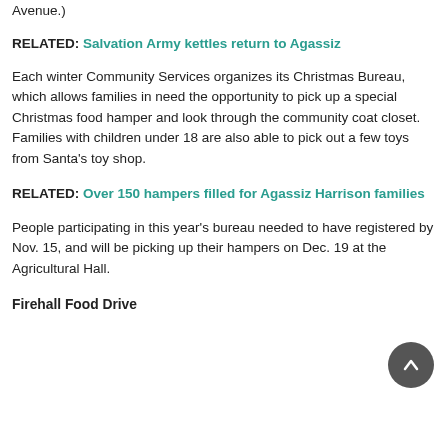Avenue.)
RELATED: Salvation Army kettles return to Agassiz
Each winter Community Services organizes its Christmas Bureau, which allows families in need the opportunity to pick up a special Christmas food hamper and look through the community coat closet. Families with children under 18 are also able to pick out a few toys from Santa's toy shop.
RELATED: Over 150 hampers filled for Agassiz Harrison families
People participating in this year's bureau needed to have registered by Nov. 15, and will be picking up their hampers on Dec. 19 at the Agricultural Hall.
Firehall Food Drive